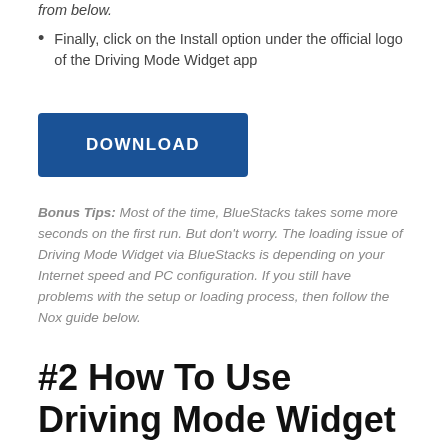from below.
Finally, click on the Install option under the official logo of the Driving Mode Widget app
[Figure (other): Blue DOWNLOAD button]
Bonus Tips: Most of the time, BlueStacks takes some more seconds on the first run. But don't worry. The loading issue of Driving Mode Widget via BlueStacks is depending on your Internet speed and PC configuration. If you still have problems with the setup or loading process, then follow the Nox guide below.
#2 How To Use Driving Mode Widget APK on PC via Nox